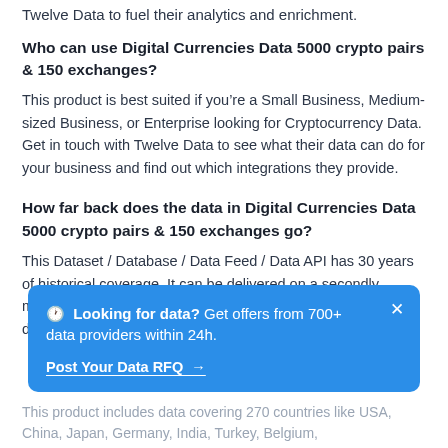Twelve Data to fuel their analytics and enrichment.
Who can use Digital Currencies Data 5000 crypto pairs & 150 exchanges?
This product is best suited if you’re a Small Business, Medium-sized Business, or Enterprise looking for Cryptocurrency Data. Get in touch with Twelve Data to see what their data can do for your business and find out which integrations they provide.
How far back does the data in Digital Currencies Data 5000 crypto pairs & 150 exchanges go?
This Dataset / Database / Data Feed / Data API has 30 years of historical coverage. It can be delivered on a secondly, minutely, hourly, daily, weekly, monthly, real-time, and on-demand basis.
🕐 Looking for data? Get offers from 700+ data providers within 24h.
Post Your Data RFQ →
This product includes data covering 270 countries like USA, China, Japan, Germany, India, Turkey, Belgium,